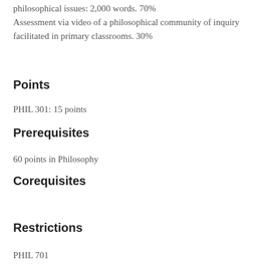philosophical issues: 2,000 words. 70%
Assessment via video of a philosophical community of inquiry facilitated in primary classrooms. 30%
Points
PHIL 301: 15 points
Prerequisites
60 points in Philosophy
Corequisites
Restrictions
PHIL 701